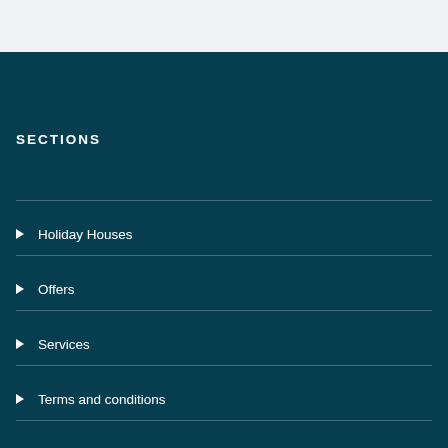SECTIONS
Holiday Houses
Offers
Services
Terms and conditions
MORE INFORMATION